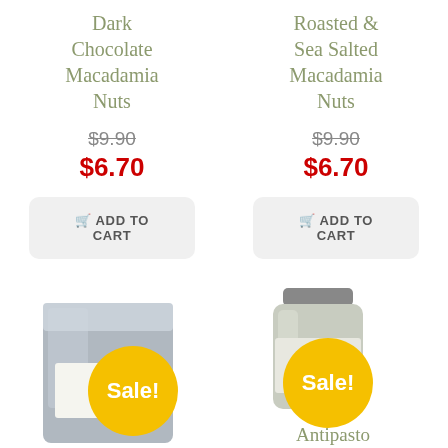Dark Chocolate Macadamia Nuts
$9.90 (strikethrough) $6.70
ADD TO CART
Roasted & Sea Salted Macadamia Nuts
$9.90 (strikethrough) $6.70
ADD TO CART
[Figure (photo): Product bag with Sale! badge overlay]
[Figure (photo): Product jar with Sale! badge overlay]
Antipasto